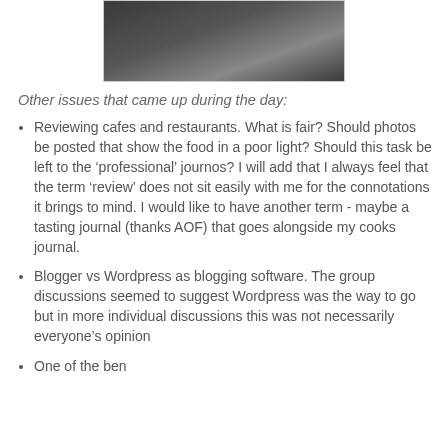[Figure (photo): Photograph of people sitting at tables in a meeting or workshop setting, viewed from behind, with a woman in a dark sleeveless top visible in the foreground.]
Other issues that came up during the day:
Reviewing cafes and restaurants. What is fair? Should photos be posted that show the food in a poor light? Should this task be left to the ‘professional’ journos? I will add that I always feel that the term ‘review’ does not sit easily with me for the connotations it brings to mind. I would like to have another term - maybe a tasting journal (thanks AOF) that goes alongside my cooks journal.
Blogger vs Wordpress as blogging software. The group discussions seemed to suggest Wordpress was the way to go but in more individual discussions this was not necessarily everyone’s opinion
One of the benefits of blogging is that...